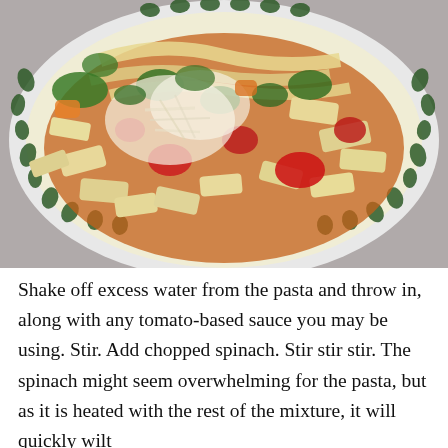[Figure (photo): A white bowl with a green floral vine pattern around the rim, filled with pasta (penne and wide noodles) in a tomato-based broth with chopped red peppers, green vegetables, and topped with grated parmesan cheese.]
Shake off excess water from the pasta and throw in, along with any tomato-based sauce you may be using. Stir. Add chopped spinach. Stir stir stir. The spinach might seem overwhelming for the pasta, but as it is heated with the rest of the mixture, it will quickly wilt